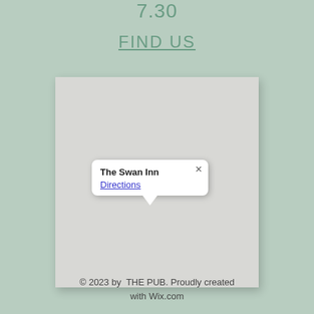7.30
FIND US
[Figure (map): Embedded Google Map showing location of The Swan Inn with an info popup displaying 'The Swan Inn' and a 'Directions' link]
© 2023 by  THE PUB. Proudly created with Wix.com